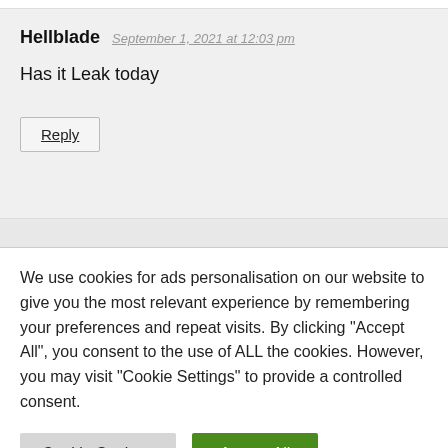Hellblade   September 1, 2021 at 12:03 pm
Has it Leak today
Reply
We use cookies for ads personalisation on our website to give you the most relevant experience by remembering your preferences and repeat visits. By clicking “Accept All”, you consent to the use of ALL the cookies. However, you may visit "Cookie Settings" to provide a controlled consent.
Cookie Settings
Accept All